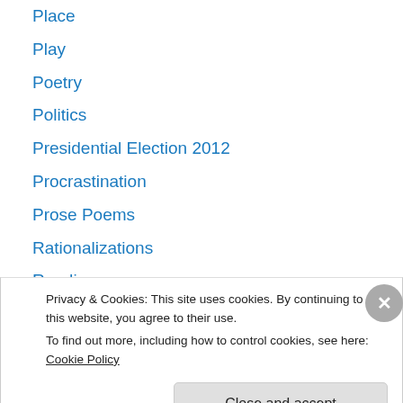Place
Play
Poetry
Politics
Presidential Election 2012
Procrastination
Prose Poems
Rationalizations
Reading
Recollection
Religion
Resolutions
Reviews
Privacy & Cookies: This site uses cookies. By continuing to use this website, you agree to their use. To find out more, including how to control cookies, see here: Cookie Policy
Close and accept